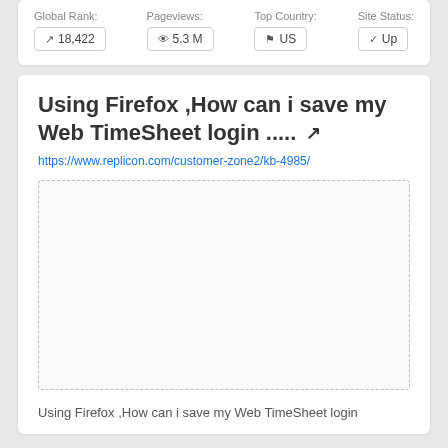| Global Rank: | Pageviews: | Top Country: | Site Status: |
| --- | --- | --- | --- |
| 18,422 | 5.3 M | US | Up |
Using Firefox ,How can i save my Web TimeSheet login .....
https://www.replicon.com/customer-zone2/kb-4985/
[Figure (other): Empty dashed-border preview box placeholder for article content]
Using Firefox ,How can i save my Web TimeSheet login